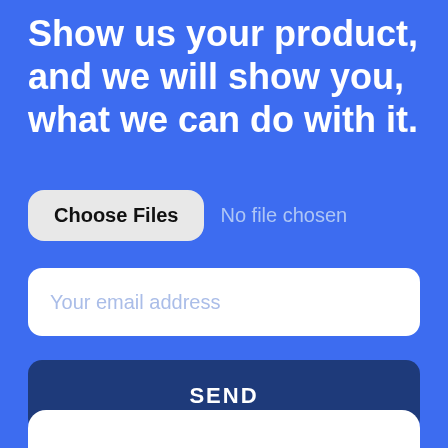Show us your product, and we will show you, what we can do with it.
Choose Files  No file chosen
Your email address
SEND
Starting at